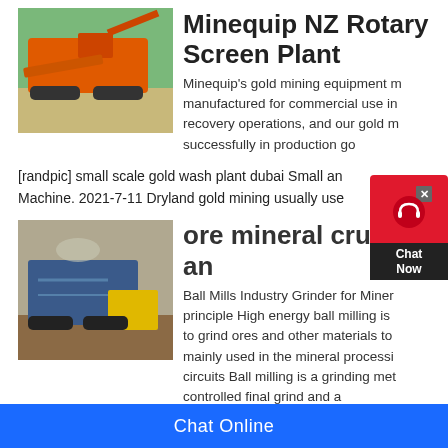Minequip NZ Rotary Screen Plant
[Figure (photo): Orange mining/crushing equipment machine photographed outdoors from above]
Minequip's gold mining equipment manufactured for commercial use in recovery operations, and our gold m successfully in production go
[randpic] small scale gold wash plant dubai Small and Machine. 2021-7-11 Dryland gold mining usually use
ore mineral crushers an
[Figure (photo): Blue and yellow mineral crusher/processing machine at a mining site with dirt and rocks]
Ball Mills Industry Grinder for Mineral principle High energy ball milling is to grind ores and other materials to mainly used in the mineral processi circuits Ball milling is a grinding met controlled final grind and a
Chat Online